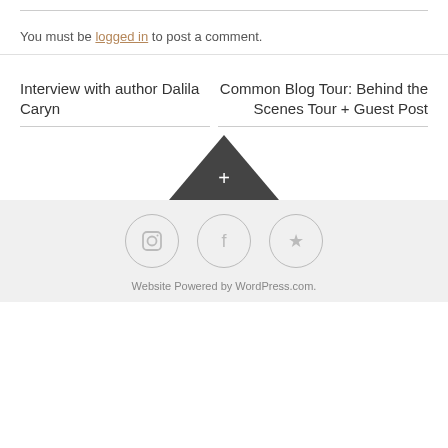You must be logged in to post a comment.
Interview with author Dalila Caryn
Common Blog Tour: Behind the Scenes Tour + Guest Post
Website Powered by WordPress.com.